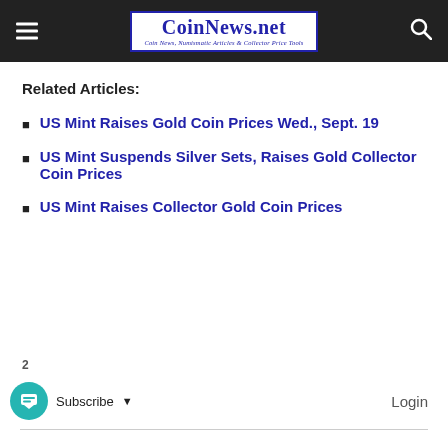CoinNews.net — Coin News, Numismatic Articles & Collector Price Tools
Related Articles:
US Mint Raises Gold Coin Prices Wed., Sept. 19
US Mint Suspends Silver Sets, Raises Gold Collector Coin Prices
US Mint Raises Collector Gold Coin Prices
2  Subscribe  Login